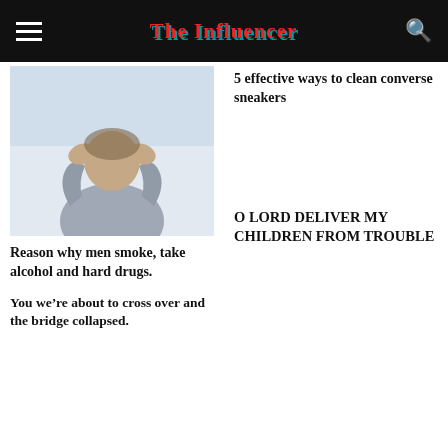The Influencer
[Figure (photo): Person with head in hands, appearing distressed, wearing grey hoodie, light background]
Reason why men smoke, take alcohol and hard drugs.
You we’re about to cross over and the bridge collapsed.
5 effective ways to clean converse sneakers
O LORD DELIVER MY CHILDREN FROM TROUBLE